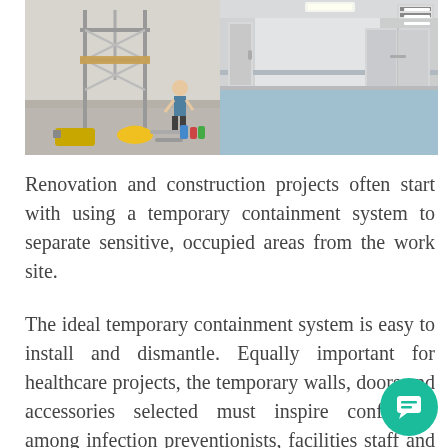[Figure (photo): Two side-by-side photos: left shows a construction/renovation work site with scaffolding, tools, a yellow hard hat on the floor, and building materials; right shows a finished clean hospital/healthcare corridor with white walls, gray doors, and blue flooring.]
Renovation and construction projects often start with using a temporary containment system to separate sensitive, occupied areas from the work site.
The ideal temporary containment system is easy to install and dismantle. Equally important for healthcare projects, the temporary walls, doors and accessories selected must inspire confidence among infection preventionists, facilities staff and general contractors that the system will eliminate the